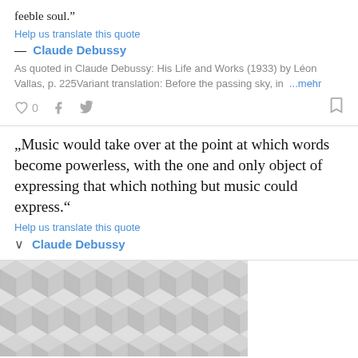feeble soul.“
Help us translate this quote
— Claude Debussy
As quoted in Claude Debussy: His Life and Works (1933) by Léon Vallas, p. 225Variant translation: Before the passing sky, in …mehr
0
„Musicwould take over at the point at which words become powerless, with the one and only object of expressing that which nothing but music could express.“
Help us translate this quote
↓ Claude Debussy
[Figure (illustration): Geometric diamond/cube tessellation pattern in light grey tones, forming a repeating 3D cube optical illusion background]